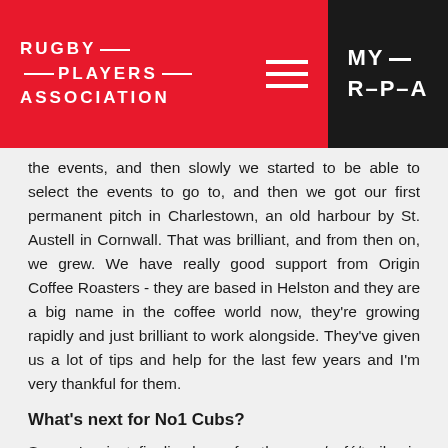RUGBY PLAYERS ASSOCIATION | MY R-P-A
the events, and then slowly we started to be able to select the events to go to, and then we got our first permanent pitch in Charlestown, an old harbour by St. Austell in Cornwall. That was brilliant, and from then on, we grew. We have really good support from Origin Coffee Roasters - they are based in Helston and they are a big name in the coffee world now, they're growing rapidly and just brilliant to work alongside. They've given us a lot of tips and help for the last few years and I'm very thankful for them.
What's next for No1 Cubs?
So, we've just finalised our fourth space/café/trailer in Mevagissey which is a fishing harbour the other side of St Austell. So, we'll have two places on the South side of Cornwall, and two on the North which is brilliant. If I